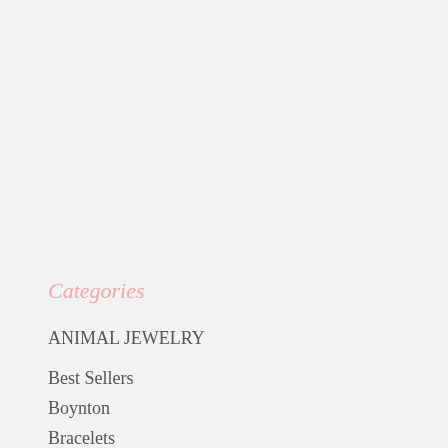Categories
ANIMAL JEWELRY
Best Sellers
Boynton
Bracelets